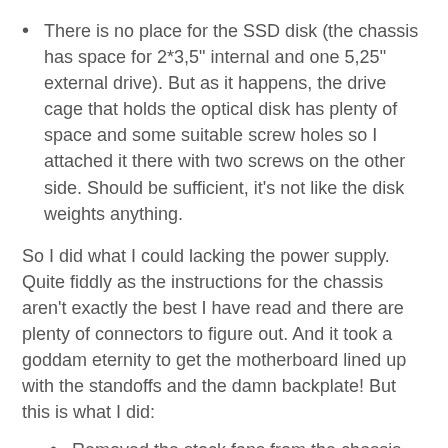There is no place for the SSD disk (the chassis has space for 2*3,5" internal and one 5,25" external drive). But as it happens, the drive cage that holds the optical disk has plenty of space and some suitable screw holes so I attached it there with two screws on the other side. Should be sufficient, it's not like the disk weights anything.
So I did what I could lacking the power supply. Quite fiddly as the instructions for the chassis aren't exactly the best I have read and there are plenty of connectors to figure out. And it took a goddam eternity to get the motherboard lined up with the standoffs and the damn backplate! But this is what I did:
Removed the stock fans from the chassis and put a plate in front of the other fan hole.
Inserted the Nexus chassis fan.
Changed the backplate.
Inserted the motherboard (it helped that I moved